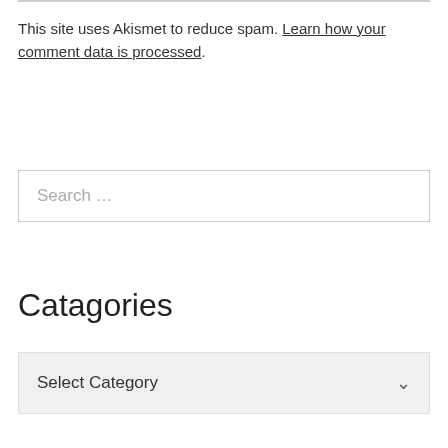This site uses Akismet to reduce spam. Learn how your comment data is processed.
Search ...
Catagories
Select Category